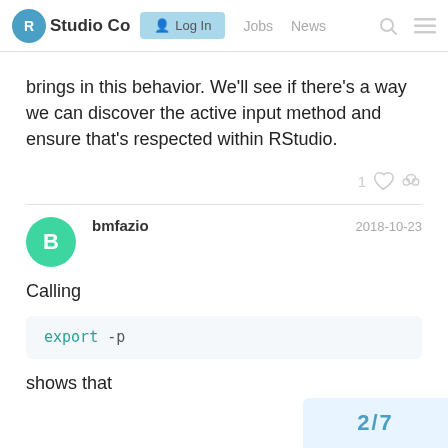RStudio Co  Log In  Jobs  News
brings in this behavior. We'll see if there's a way we can discover the active input method and ensure that's respected within RStudio.
bmfazio  2018-10-23
Calling
export -p
shows that
2/7